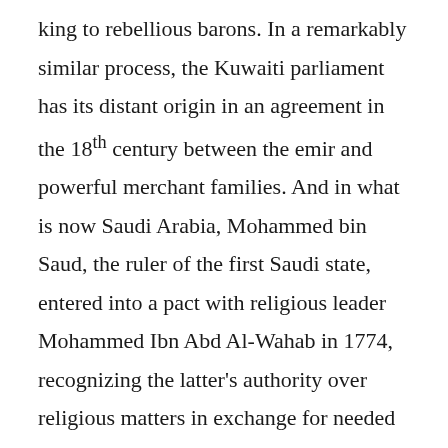king to rebellious barons. In a remarkably similar process, the Kuwaiti parliament has its distant origin in an agreement in the 18th century between the emir and powerful merchant families. And in what is now Saudi Arabia, Mohammed bin Saud, the ruler of the first Saudi state, entered into a pact with religious leader Mohammed Ibn Abd Al-Wahab in 1774, recognizing the latter's authority over religious matters in exchange for needed political support. The pact was renewed after the establishment of the present Kingdom of Saudi Arabia but is now being dismantled by Crown Prince Mohammed Bin Salman. But in some of the Arab countries of the Gulf, limited participation is now offered from the top, rather than being demanded by strong political forces from the